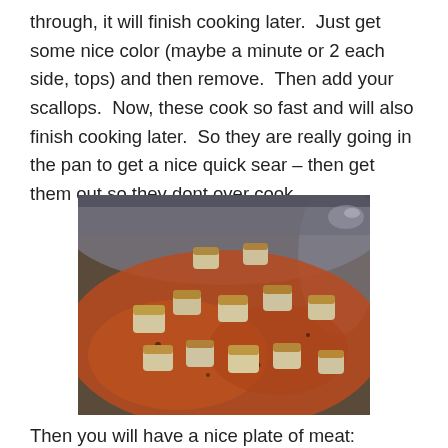through, it will finish cooking later.  Just get some nice color (maybe a minute or 2 each side, tops) and then remove.  Then add your scallops.  Now, these cook so fast and will also finish cooking later.  So they are really going in the pan to get a nice quick sear – then get them out so they dont over cook.
[Figure (photo): Scallops searing in a stainless steel pan with a reddish-orange sauce or oil, showing golden-brown sear marks on the scallop pieces.]
Then you will have a nice plate of meat: